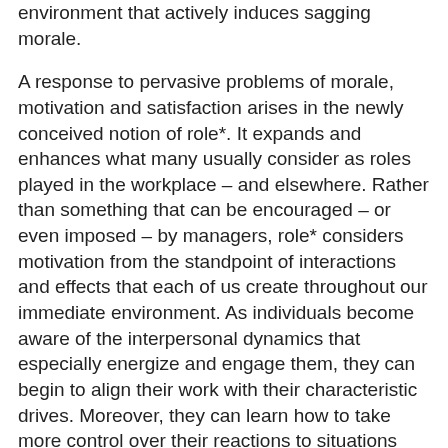environment that actively induces sagging morale.
A response to pervasive problems of morale, motivation and satisfaction arises in the newly conceived notion of role*. It expands and enhances what many usually consider as roles played in the workplace – and elsewhere. Rather than something that can be encouraged – or even imposed – by managers, role* considers motivation from the standpoint of interactions and effects that each of us create throughout our immediate environment. As individuals become aware of the interpersonal dynamics that especially energize and engage them, they can begin to align their work with their characteristic drives. Moreover, they can learn how to take more control over their reactions to situations that may be beyond their ability to change, something that is vitally important in today's accelerated workplace. For managers who assemble collaborative teams, making personnel